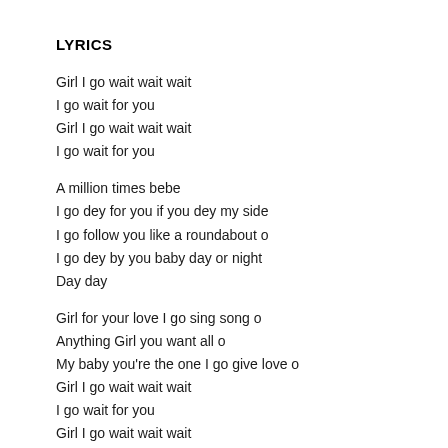LYRICS
Girl I go wait wait wait
I go wait for you
Girl I go wait wait wait
I go wait for you
A million times bebe
I go dey for you if you dey my side
I go follow you like a roundabout o
I go dey by you baby day or night
Day day
Girl for your love I go sing song o
Anything Girl you want all o
My baby you're the one I go give love o
Girl I go wait wait wait
I go wait for you
Girl I go wait wait wait